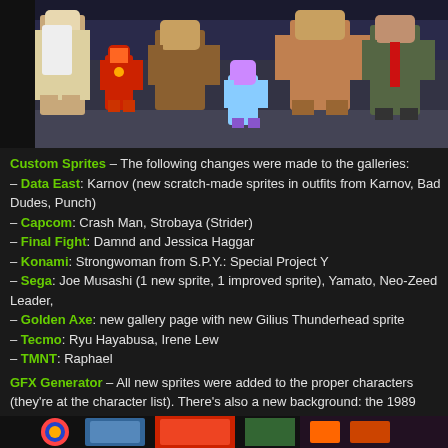[Figure (screenshot): Pixel art characters from classic arcade/fighting games lined up together against a city background]
Custom Sprites – The following changes were made to the galleries:
– Data East: Karnov (new scratch-made sprites in outfits from Karnov, Bad Dudes, Punch)
– Capcom: Crash Man, Strobaya (Strider)
– Final Fight: Damnd and Jessica Haggar
– Konami: Strongwoman from S.P.Y.: Special Project Y
– Sega: Joe Musashi (1 new sprite, 1 improved sprite), Yamato, Neo-Zeed Leader,
– Golden Axe: new gallery page with new Gilius Thunderhead sprite
– Tecmo: Ryu Hayabusa, Irene Lew
– TMNT: Raphael
GFX Generator – All new sprites were added to the proper characters (they're at the character list). There's also a new background: the 1989 arcade!
YouTube user Cralfer put together a video that showcases many of the multi-plane released before Final Fight was in 1989. You'll see a lot of obscure titles in here!
[Figure (screenshot): Partial image at bottom of page showing colorful game sprites]